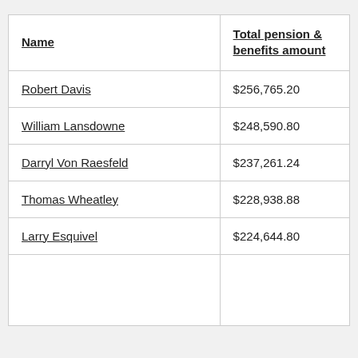| Name | Total pension & benefits amount |
| --- | --- |
| Robert Davis | $256,765.20 |
| William Lansdowne | $248,590.80 |
| Darryl Von Raesfeld | $237,261.24 |
| Thomas Wheatley | $228,938.88 |
| Larry Esquivel | $224,644.80 |